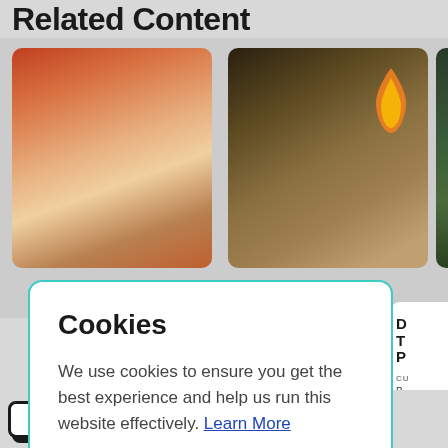Related Content
[Figure (photo): Food photography showing sliced meat/turkey on the left, a whole roasted bird in the center with an orange flame graphic overlay, and a partial green food item on the right]
Cookies
We use cookies to ensure you get the best experience and help us run this website effectively. Learn More
ALLOW
DECLINE
GET THE RECIPE
GET THE RECIPE